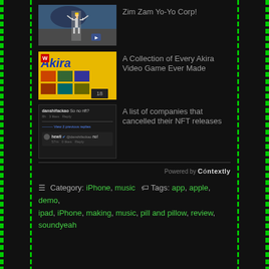[Figure (screenshot): Thumbnail image of a person with arms raised in front of a building]
Zim Zam Yo-Yo Corp!
[Figure (screenshot): Akira video game magazine page thumbnail with yellow background and game screenshots, badge showing 18]
A Collection of Every Akira Video Game Ever Made
[Figure (screenshot): Screenshot of social media comment thread - danshifackao: So no nft? with reply from hewll @danshifackao no!]
A list of companies that cancelled their NFT releases
Powered by Contextly
≡ Category: iPhone, music 🏷 Tags: app, apple, demo, ipad, iPhone, making, music, pill and pillow, review, soundyeah